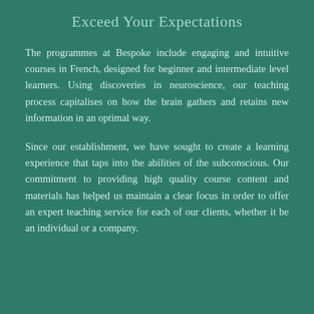Exceed Your Expectations
The programmes at Bespoke include engaging and intuitive courses in French, designed for beginner and intermediate level learners. Using discoveries in neuroscience, our teaching process capitalises on how the brain gathers and retains new information in an optimal way.
Since our establishment, we have sought to create a learning experience that taps into the abilities of the subconscious. Our commitment to providing high quality course content and materials has helped us maintain a clear focus in order to offer an expert teaching service for each of our clients, whether it be an individual or a company.